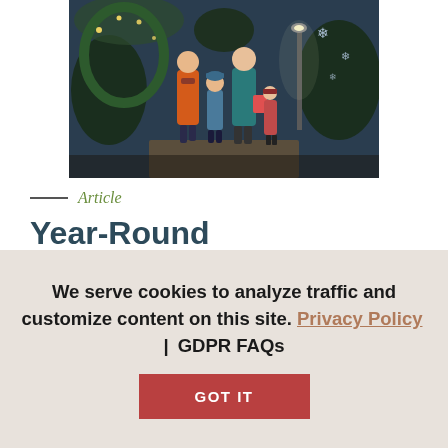[Figure (photo): Family with children walking outdoors at night among Christmas lights and decorations, holiday shopping scene]
— Article
Year-Round Christmas Stores in Branson
Christmas season in Branson is a magical time of year, but you don't
We serve cookies to analyze traffic and customize content on this site. Privacy Policy | GDPR FAQs
GOT IT